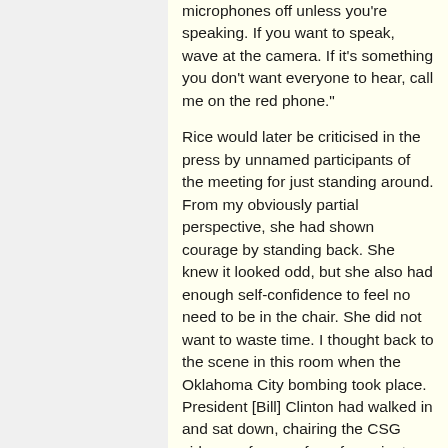microphones off unless you're speaking. If you want to speak, wave at the camera. If it's something you don't want everyone to hear, call me on the red phone."
Rice would later be criticised in the press by unnamed participants of the meeting for just standing around. From my obviously partial perspective, she had shown courage by standing back. She knew it looked odd, but she also had enough self-confidence to feel no need to be in the chair. She did not want to waste time. I thought back to the scene in this room when the Oklahoma City bombing took place. President [Bill] Clinton had walked in and sat down, chairing the CSG video conference for a few minutes. While it showed high-level concern and we were glad to have him there, it would have slowed down our response if he had stayed.
"You're going to need some decisions quickly," Rice said off camera. "I'm going